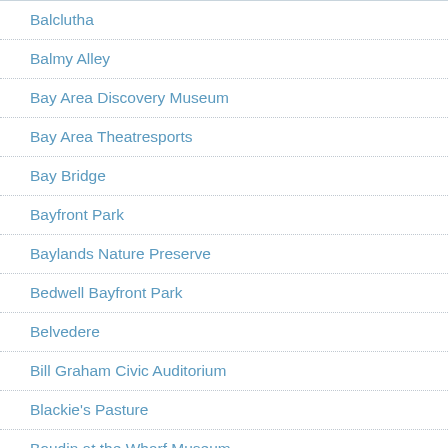Balclutha
Balmy Alley
Bay Area Discovery Museum
Bay Area Theatresports
Bay Bridge
Bayfront Park
Baylands Nature Preserve
Bedwell Bayfront Park
Belvedere
Bill Graham Civic Auditorium
Blackie's Pasture
Boudin at the Wharf Museum